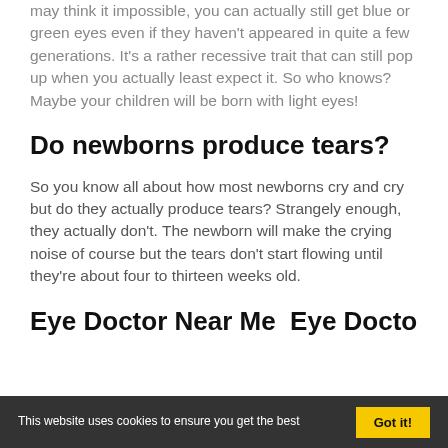may think it impossible, you can actually still get blue or green eyes even if they haven't appeared in quite a few generations. It's a rather recessive trait that can still pop up when you actually least expect it. So who knows? Maybe your children will be born with light eyes!
Do newborns produce tears?
So you know all about how most newborns cry and cry but do they actually produce tears? Strangely enough, they actually don't. The newborn will make the crying noise of course but the tears don't start flowing until they're about four to thirteen weeks old.
Eye Doctor Near Me  Eye Doctor
This website uses cookies to ensure you get the best